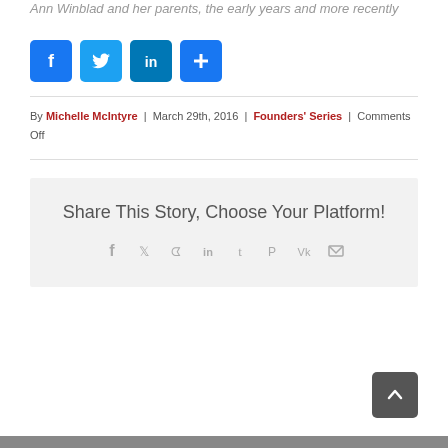Ann Winblad and her parents, the early years and more recently
[Figure (infographic): Social share buttons: Facebook (blue), Twitter (blue), LinkedIn (blue), Plus/Share (blue)]
By Michelle McIntyre | March 29th, 2016 | Founders' Series | Comments Off
Share This Story, Choose Your Platform!
[Figure (infographic): Row of social share icons: Facebook, Twitter, Reddit, LinkedIn, Tumblr, Pinterest, VK, Email]
[Figure (other): Back to top button (dark gray rounded square with upward chevron)]